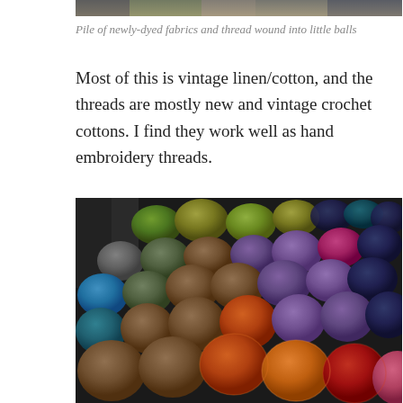[Figure (photo): Top edge of a photo showing pile of newly-dyed fabrics and threads wound into little balls]
Pile of newly-dyed fabrics and thread wound into little balls
Most of this is vintage linen/cotton, and the threads are mostly new and vintage crochet cottons. I find they work well as hand embroidery threads.
[Figure (photo): Large colorful pile of yarn/thread balls in many colors: greens, purples, blues, teals, browns, oranges, reds, and pinks arranged together]